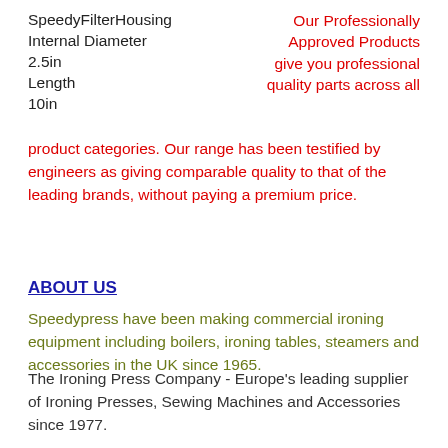SpeedyFilterHousing
Internal Diameter
2.5in
Length
10in
Our Professionally Approved Products give you professional quality parts across all product categories. Our range has been testified by engineers as giving comparable quality to that of the leading brands, without paying a premium price.
ABOUT US
Speedypress have been making commercial ironing equipment including boilers, ironing tables, steamers and accessories in the UK since 1965.
The Ironing Press Company - Europe's leading supplier of Ironing Presses, Sewing Machines and Accessories since 1977.